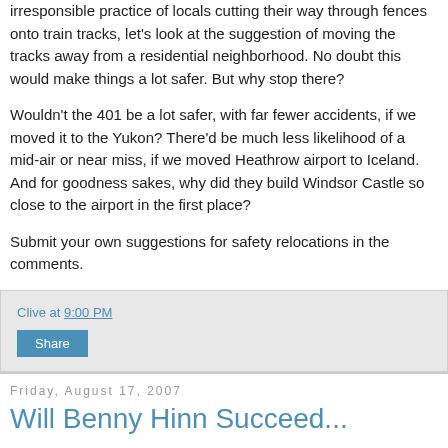irresponsible practice of locals cutting their way through fences onto train tracks, let's look at the suggestion of moving the tracks away from a residential neighborhood. No doubt this would make things a lot safer. But why stop there?
Wouldn't the 401 be a lot safer, with far fewer accidents, if we moved it to the Yukon? There'd be much less likelihood of a mid-air or near miss, if we moved Heathrow airport to Iceland. And for goodness sakes, why did they build Windsor Castle so close to the airport in the first place?
Submit your own suggestions for safety relocations in the comments.
Clive at 9:00 PM
Share
Friday, August 17, 2007
Will Benny Hinn Succeed...